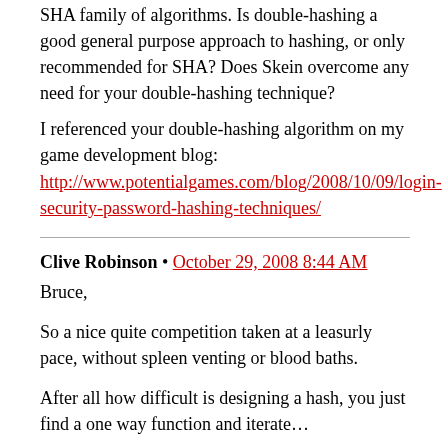SHA family of algorithms. Is double-hashing a good general purpose approach to hashing, or only recommended for SHA? Does Skein overcome any need for your double-hashing technique?
I referenced your double-hashing algorithm on my game development blog: http://www.potentialgames.com/blog/2008/10/09/login-security-password-hashing-techniques/
Clive Robinson • October 29, 2008 8:44 AM
Bruce,
So a nice quite competition taken at a leasurly pace, without spleen venting or blood baths.
After all how difficult is designing a hash, you just find a one way function and iterate…
Seriously though it should prove both interesting and instructive. Personaly I would still like to see all the entrants analysed including the ones NIST rejects as not being